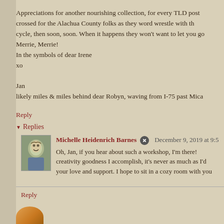Appreciations for another nourishing collection, for every TLD post crossed for the Alachua County folks as they word wrestle with the cycle, then soon, soon. When it happens they won't want to let you go Merrie, Merrie!
In the symbols of dear Irene
xo

Jan
likely miles & miles behind dear Robyn, waving from I-75 past Micar
Reply
Replies
Michelle Heidenrich Barnes  December 9, 2019 at 9:5
Oh, Jan, if you hear about such a workshop, I'm there! creativity goodness I accomplish, it's never as much as I'd your love and support. I hope to sit in a cozy room with you
Reply